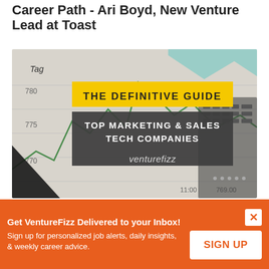Career Path - Ari Boyd, New Venture Lead at Toast
[Figure (illustration): Book cover image with financial chart background. Yellow banner reads 'THE DEFINITIVE GUIDE'. Dark grey banner reads 'TOP MARKETING & SALES TECH COMPANIES'. VentureFizz logo at bottom. Laptop keyboard visible on right side.]
The Definitive Guide to the Top Marketing &
Get VentureFizz Delivered to your Inbox!
Sign up for personalized job alerts, daily insights, & weekly career advice.